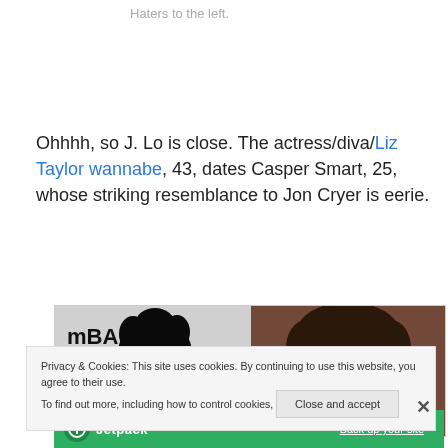Haters to the left.
Ohhhh, so J. Lo is close. The actress/diva/Liz Taylor wannabe, 43, dates Casper Smart, 25, whose striking resemblance to Jon Cryer is eerie.
[Figure (photo): Two side-by-side photos: left shows a person with dark hair at what appears to be a Zumba fitness event with red signage; right shows a man with dark hair against a brown background.]
Privacy & Cookies: This site uses cookies. By continuing to use this website, you agree to their use.
To find out more, including how to control cookies, see here: Cookie Policy
Close and accept